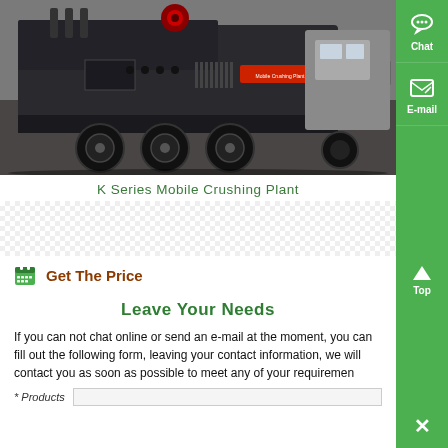[Figure (photo): K Series Mobile Crushing Plant - large industrial mobile crushing machine on a truck/trailer platform, photographed in a warehouse/factory setting. Dark grey machine with large wheels visible.]
K Series Mobile Crushing Plant
Get The Price
Leave Your Needs
If you can not chat online or send an e-mail at the moment, you can fill out the following form, leaving your contact information, we will contact you as soon as possible to meet any of your requirements!